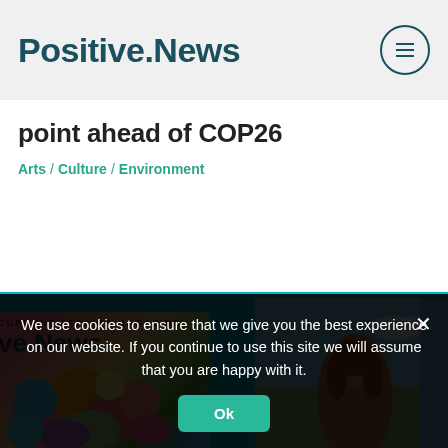Positive.News
point ahead of COP26
Arts / Culture / Environment
[Figure (photo): Three Positive.News magazine covers displayed on a teal/cyan background. Left cover shows colorful illustrated flowers. Center cover shows a woman standing in a field with Positive.News logo in yellow. Right cover shows a smiling man on blue background with Positive.News logo in white.]
We use cookies to ensure that we give you the best experience on our website. If you continue to use this site we will assume that you are happy with it.